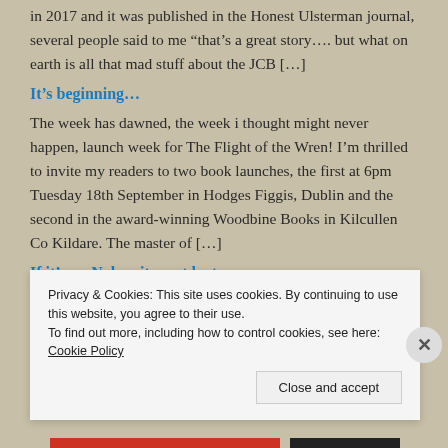in 2017 and it was published in the Honest Ulsterman journal, several people said to me “that’s a great story…. but what on earth is all that mad stuff about the JCB […]
It’s beginning…
The week has dawned, the week i thought might never happen, launch week for The Flight of the Wren! I’m thrilled to invite my readers to two book launches, the first at 6pm Tuesday 18th September in Hodges Figgis, Dublin and the second in the award-winning Woodbine Books in Kilcullen Co Kildare. The master of […]
If it’s on Nolan, it must be true…
[Figure (screenshot): Black bar at top of a video thumbnail]
Privacy & Cookies: This site uses cookies. By continuing to use this website, you agree to their use.
To find out more, including how to control cookies, see here: Cookie Policy
Close and accept